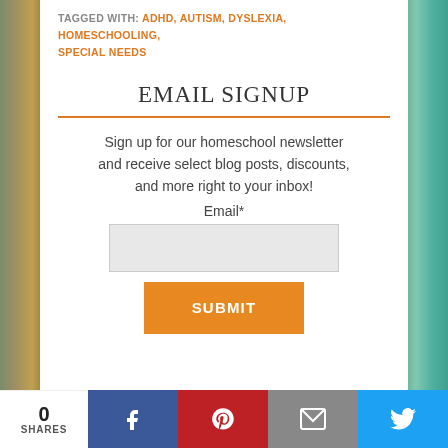TAGGED WITH: ADHD, AUTISM, DYSLEXIA, HOMESCHOOLING, SPECIAL NEEDS
EMAIL SIGNUP
Sign up for our homeschool newsletter and receive select blog posts, discounts, and more right to your inbox!
Email*
0 SHARES | Facebook | Pinterest | Email | Twitter